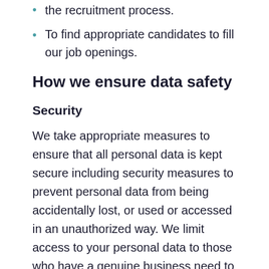the recruitment process.
To find appropriate candidates to fill our job openings.
How we ensure data safety
Security
We take appropriate measures to ensure that all personal data is kept secure including security measures to prevent personal data from being accidentally lost, or used or accessed in an unauthorized way. We limit access to your personal data to those who have a genuine business need to know it. Those processing your information will do so only in an authorized manner and are subject to a duty of